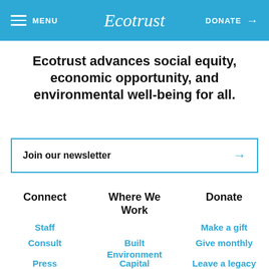MENU | Ecotrust | DONATE →
Ecotrust advances social equity, economic opportunity, and environmental well-being for all.
Join our newsletter →
Connect
Where We Work
Donate
Staff
Built Environment
Make a gift
Consult
Give monthly
Press
Capital Initiatives
Leave a legacy